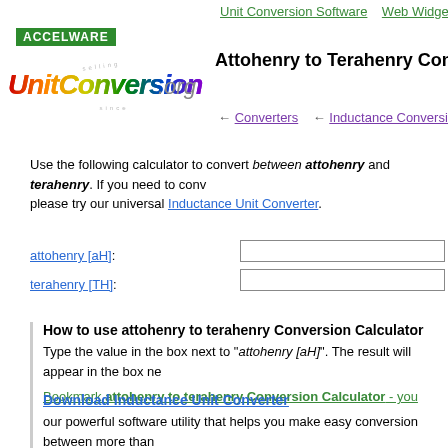Unit Conversion Software   Web Widgets   Lo
[Figure (logo): ACCELWARE badge and UnitConversion.org rainbow logo with circular text]
Attohenry to Terahenry Conversio
← Converters   ← Inductance Conversion Ta
Use the following calculator to convert between attohenry and terahenry. If you need to conv please try our universal Inductance Unit Converter.
attohenry [aH]:
terahenry [TH]:
How to use attohenry to terahenry Conversion Calculator
Type the value in the box next to "attohenry [aH]". The result will appear in the box ne
Bookmark attohenry to terahenry Conversion Calculator - you
Download Inductance Unit Converter
our powerful software utility that helps you make easy conversion between more than 2,100 various units of measure in more than 70 categories. Discover a universal assistar for all of your unit conversion needs - download the free demo version right away!